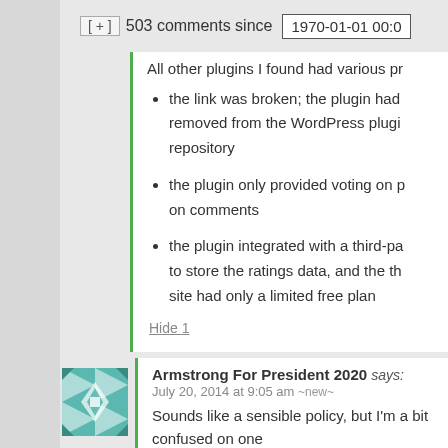[ + ]  503 comments since  1970-01-01 00:0
All other plugins I found had various pr
the link was broken; the plugin had removed from the WordPress plugin repository
the plugin only provided voting on p on comments
the plugin integrated with a third-pa to store the ratings data, and the th site had only a limited free plan
Hide 1
Armstrong For President 2020 says:
July 20, 2014 at 9:05 am ~new~
Sounds like a sensible policy, but I'm a bit confused on one point;